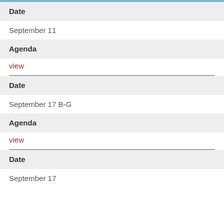| Date | Agenda |
| --- | --- |
| September 11 | view |
| Date | Agenda |
| --- | --- |
| September 17 B-G | view |
| Date |
| --- |
| September 17 |